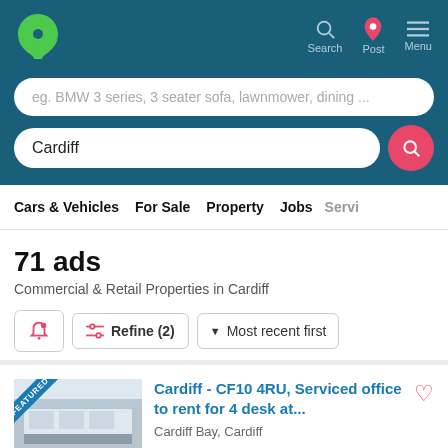[Figure (screenshot): Gumtree website header with green tree logo, search bar with placeholder 'eg. BMW 3 series, 3 seater sofa, lawnmower, dining ...', Cardiff location search bar, navigation icons for Search, Post, Menu]
eg. BMW 3 series, 3 seater sofa, lawnmower, dining ...
Cardiff
Cars & Vehicles   For Sale   Property   Jobs   Servi
71 ads
Commercial & Retail Properties in Cardiff
Refine (2)   Most recent first
Cardiff - CF10 4RU, Serviced office to rent for 4 desk at...
Cardiff Bay, Cardiff